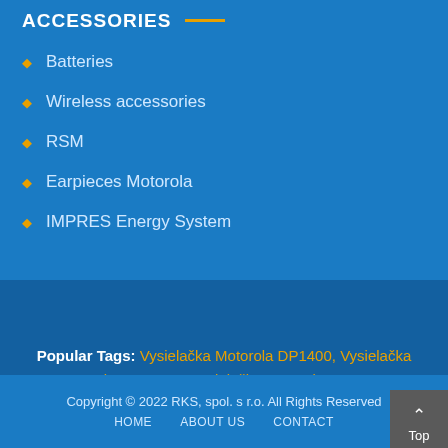ACCESSORIES
Batteries
Wireless accessories
RSM
Earpieces Motorola
IMPRES Energy System
Popular Tags: Vysielačka Motorola DP1400, Vysielačka Motorola DP2400e, Vysielačka Motorola DP2600e
Copyright © 2022 RKS, spol. s r.o. All Rights Reserved  HOME  ABOUT US  CONTACT